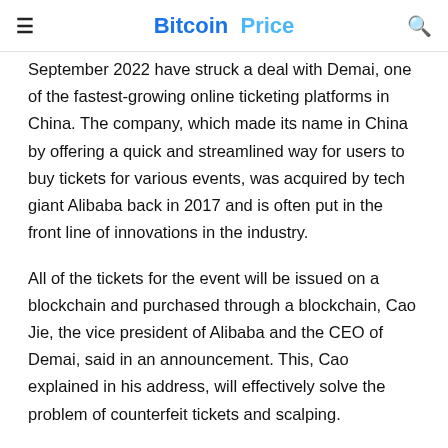Bitcoin Price
September 2022 have struck a deal with Demai, one of the fastest-growing online ticketing platforms in China. The company, which made its name in China by offering a quick and streamlined way for users to buy tickets for various events, was acquired by tech giant Alibaba back in 2017 and is often put in the front line of innovations in the industry.
All of the tickets for the event will be issued on a blockchain and purchased through a blockchain, Cao Jie, the vice president of Alibaba and the CEO of Demai, said in an announcement. This, Cao explained in his address, will effectively solve the problem of counterfeit tickets and scalping.
“In terms of ticket design and price determination, we will